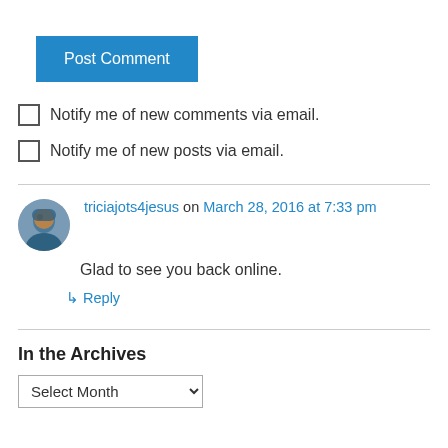[Figure (other): Blue 'Post Comment' button]
Notify me of new comments via email.
Notify me of new posts via email.
triciajots4jesus on March 28, 2016 at 7:33 pm
Glad to see you back online.
↳ Reply
In the Archives
Select Month